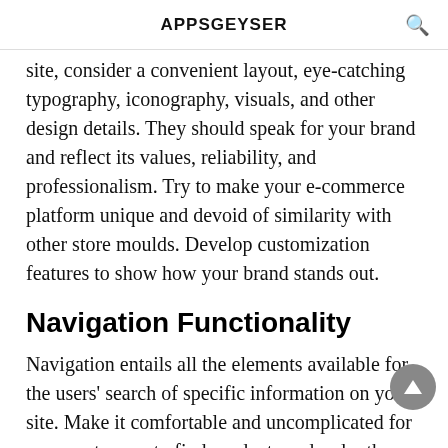APPSGEYSER
site, consider a convenient layout, eye-catching typography, iconography, visuals, and other design details. They should speak for your brand and reflect its values, reliability, and professionalism. Try to make your e-commerce platform unique and devoid of similarity with other store moulds. Develop customization features to show how your brand stands out.
Navigation Functionality
Navigation entails all the elements available for the users' search of specific information on your site. Make it comfortable and uncomplicated for your customers to find products and order them. Consider convenient text search options, filters, product category pages, cart